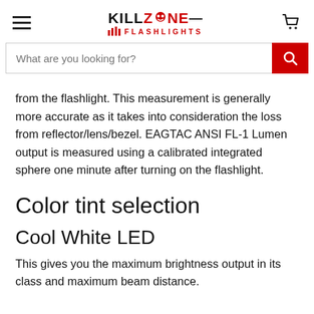KILLZONE FLASHLIGHTS — navigation header with search bar
from the flashlight. This measurement is generally more accurate as it takes into consideration the loss from reflector/lens/bezel. EAGTAC ANSI FL-1 Lumen output is measured using a calibrated integrated sphere one minute after turning on the flashlight.
Color tint selection
Cool White LED
This gives you the maximum brightness output in its class and maximum beam distance.